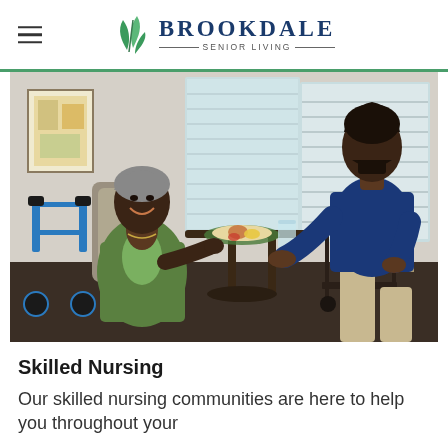Brookdale Senior Living
[Figure (photo): A male caregiver in a navy blue shirt leans over a small table to assist an elderly smiling Black woman seated in a chair. The woman wears a green jacket and has gray hair. There is a plate of food and a glass of water on the tray table. A blue rollator walker is visible to the left. The setting is a bright room with windows and window blinds in the background.]
Skilled Nursing
Our skilled nursing communities are here to help you throughout your